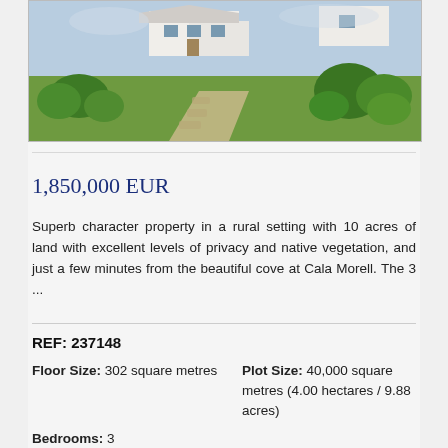[Figure (photo): Exterior photo of a rural property with a white house in background, green lawn, stone pathway, and native shrub vegetation under blue sky.]
1,850,000 EUR
Superb character property in a rural setting with 10 acres of land with excellent levels of privacy and native vegetation, and just a few minutes from the beautiful cove at Cala Morell. The 3 ...
REF: 237148
Floor Size: 302 square metres
Plot Size: 40,000 square metres (4.00 hectares / 9.88 acres)
Bedrooms: 3